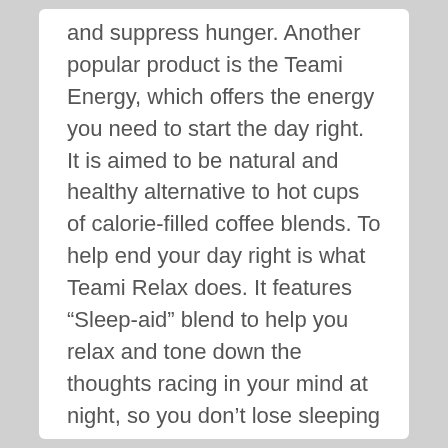and suppress hunger. Another popular product is the Teami Energy, which offers the energy you need to start the day right. It is aimed to be natural and healthy alternative to hot cups of calorie-filled coffee blends. To help end your day right is what Teami Relax does. It features “Sleep-aid” blend to help you relax and tone down the thoughts racing in your mind at night, so you don’t lose sleeping hours your body needs. Tea tumblers, tea infusers, and cool tea bundles are also available for you to discover. Browse and order your healthy tea blends now from teamiblends.co.uk!